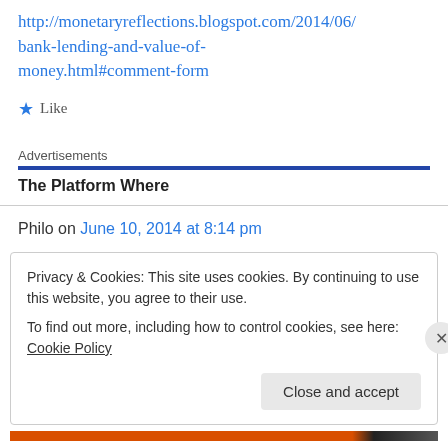http://monetaryreflections.blogspot.com/2014/06/bank-lending-and-value-of-money.html#comment-form
★ Like
Advertisements
The Platform Where
Philo on June 10, 2014 at 8:14 pm
Privacy & Cookies: This site uses cookies. By continuing to use this website, you agree to their use.
To find out more, including how to control cookies, see here: Cookie Policy
Close and accept